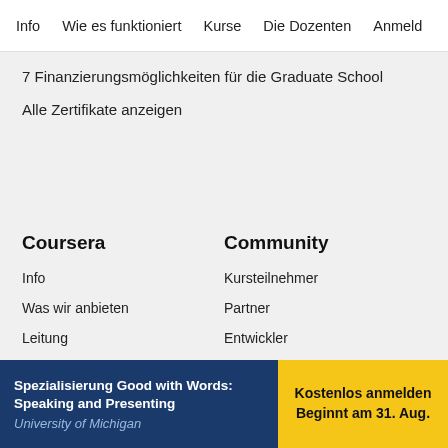Info  Wie es funktioniert  Kurse  Die Dozenten  Anmeld
7 Finanzierungsmöglichkeiten für die Graduate School
Alle Zertifikate anzeigen
Coursera
Info
Was wir anbieten
Leitung
Jobs
Community
Kursteilnehmer
Partner
Entwickler
Beta Tester
Spezialisierung Good with Words: Speaking and Presenting
University of Michigan
Kostenlos anmelden
Beginnt am 31. Aug.